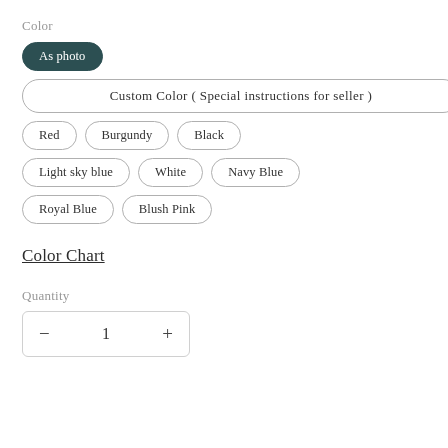Color
As photo
Custom Color ( Special instructions for seller )
Red
Burgundy
Black
Light sky blue
White
Navy Blue
Royal Blue
Blush Pink
Color Chart
Quantity
− 1 +